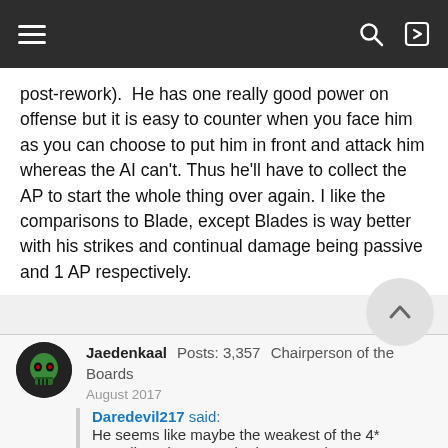Navigation bar with hamburger menu, search, and login icons
post-rework).  He has one really good power on offense but it is easy to counter when you face him as you can choose to put him in front and attack him whereas the AI can't. Thus he'll have to collect the AP to start the whole thing over again. I like the comparisons to Blade, except Blades is way better with his strikes and continual damage being passive and 1 AP respectively.
Jaedenkaal  Posts: 3,357  Chairperson of the Boards
August 2017
Daredevil217 said:
He seems like maybe the weakest of the 4* Guardians (I say maybe because I have no